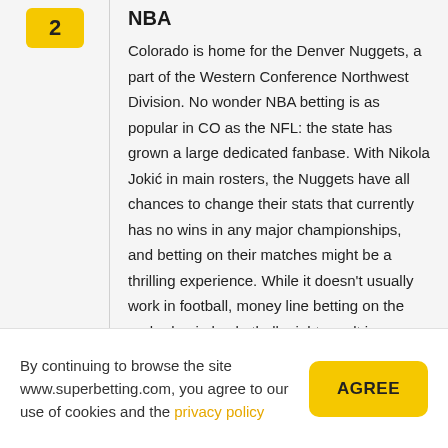2
NBA
Colorado is home for the Denver Nuggets, a part of the Western Conference Northwest Division. No wonder NBA betting is as popular in CO as the NFL: the state has grown a large dedicated fanbase. With Nikola Jokić in main rosters, the Nuggets have all chances to change their stats that currently has no wins in any major championships, and betting on their matches might be a thrilling experience. While it doesn't usually work in football, money line betting on the underdog in basketball might result in very inspiring
By continuing to browse the site www.superbetting.com, you agree to our use of cookies and the privacy policy